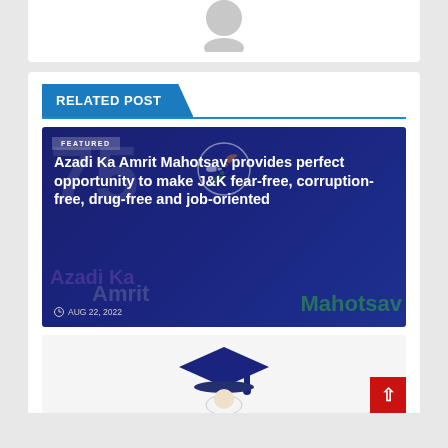[Figure (illustration): Avatar/profile photo placeholder circle at top of page]
RELATED POST
[Figure (photo): Article thumbnail image with dark blue background showing Azadi Ka Amrit Mahotsav text and Indian flag emblem watermark]
Azadi Ka Amrit Mahotsav provides perfect opportunity to make J&K fear-free, corruption-free, drug-free and job-oriented
AUG 22, 2022
[Figure (illustration): Graduation cap illustration at bottom of page]